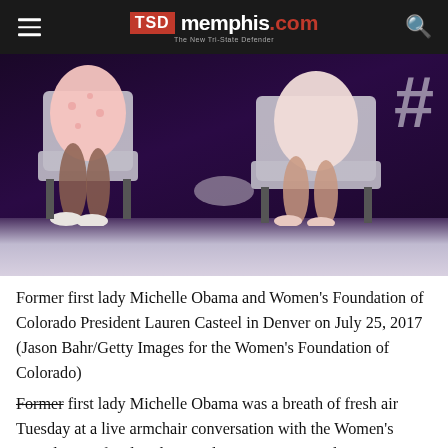TSD memphis.com — The New Tri-State Defender
[Figure (photo): Two women seated in armchairs on a stage with purple lighting. One wears a floral pink dress, the other a light pink outfit. A hashtag symbol is visible on the right side of the background.]
Former first lady Michelle Obama and Women's Foundation of Colorado President Lauren Casteel in Denver on July 25, 2017 (Jason Bahr/Getty Images for the Women's Foundation of Colorado)
Former first lady Michelle Obama was a breath of fresh air Tuesday at a live armchair conversation with the Women's Foundation of Colorado President Lauren Casteel in Denver. Poised and